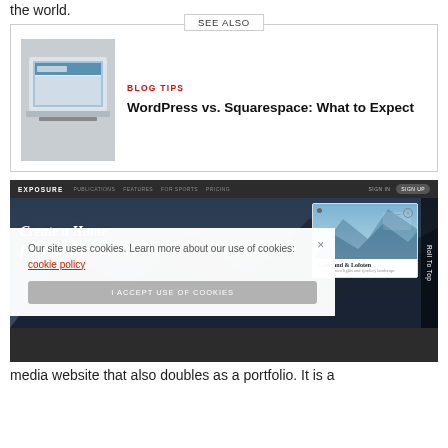the world.
[Figure (screenshot): SEE ALSO box with laptop photo and blog post link: BLOG TIPS — WordPress vs. Squarespace: What to Expect]
[Figure (screenshot): Screenshot of Exposure website with dark navigation bar, hero image of mountains with 'Create a Home for Your Stories', a popup card showing 'Lannland & Lofoten', and a cookie consent overlay with 'I ACCEPT USE OF COOKIES' button. A 'Scroll To Top' label is on the right edge.]
media website that also doubles as a portfolio. It is a